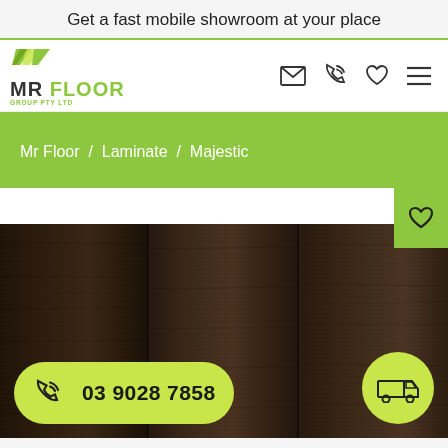Get a fast mobile showroom at your place
[Figure (logo): Mr Floor Group Pty Ltd logo with green diagonal stripes and green text]
Mr Floor / Laminate / Majestic
[Figure (photo): Dark brown wood laminate flooring planks close-up product photo]
03 9028 7858